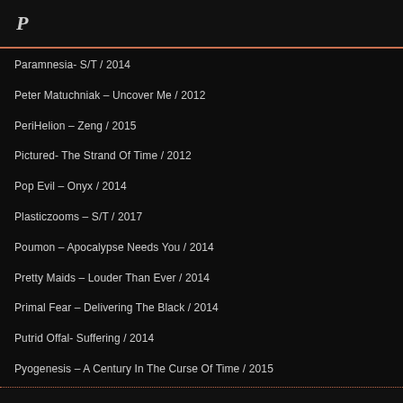P
Paramnesia- S/T / 2014
Peter Matuchniak – Uncover Me / 2012
PeriHelion – Zeng / 2015
Pictured- The Strand Of Time / 2012
Pop Evil – Onyx / 2014
Plasticzooms – S/T / 2017
Poumon – Apocalypse Needs You / 2014
Pretty Maids – Louder Than Ever / 2014
Primal Fear – Delivering The Black / 2014
Putrid Offal- Suffering / 2014
Pyogenesis – A Century In The Curse Of Time / 2015